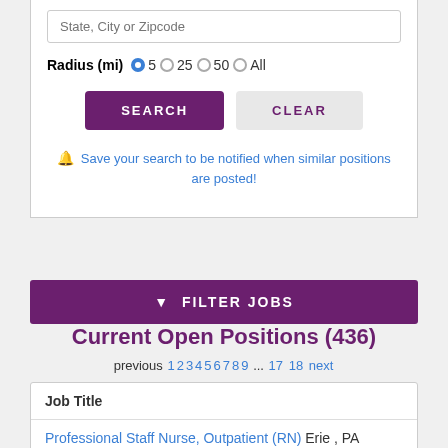State, City or Zipcode
Radius (mi) 5 25 50 All
SEARCH
CLEAR
Save your search to be notified when similar positions are posted!
FILTER JOBS
Current Open Positions (436)
previous 1 2 3 4 5 6 7 8 9 ... 17 18 next
| Job Title |
| --- |
| Professional Staff Nurse, Outpatient (RN) Erie , PA
Sign-On Bonus Eligible |
Professional Staff Nurse, Outpatient (RN) Erie , PA
$ Sign-On Bonus Eligible